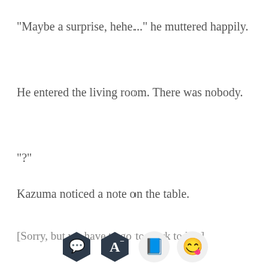"Maybe a surprise, hehe..." he muttered happily.
He entered the living room. There was nobody.
"?"
Kazuma noticed a note on the table.
[Sorry, but we have to go to work today.]
[Figure (screenshot): App toolbar at bottom with four icons: speech bubble, font/text size, book/reading, and emoji icons]